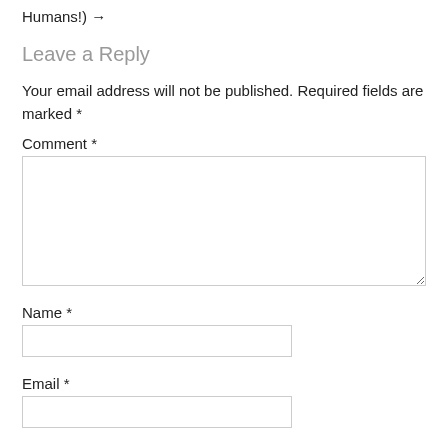Humans!) →
Leave a Reply
Your email address will not be published. Required fields are marked *
Comment *
Name *
Email *